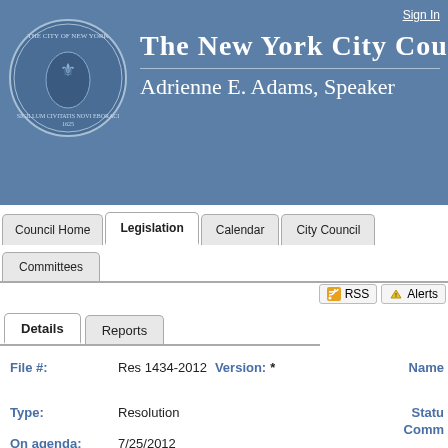The New York City Council — Adrienne E. Adams, Speaker
Sign In
Council Home | Legislation | Calendar | City Council | Committees
RSS  Alerts
Details  Reports
File #: Res 1434-2012  Version: *  Name:
Type: Resolution  Status:  Comm:
On agenda: 7/25/2012